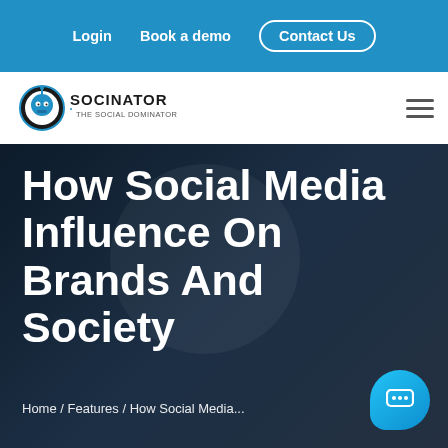Login  Book a demo  Contact Us
[Figure (logo): Socinator - The Social Dominator logo with robot face icon and text]
How Social Media Influence On Brands And Society
Home / Features / How Social Media...